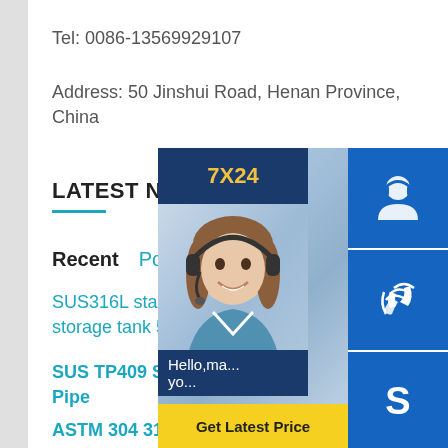Tel: 0086-13569929107
Address: 50 Jinshui Road, Henan Province, China
LATEST NEWS
Recent   Popular
SUS316L stainless steel ice wa... storage tank 500 liter
SUS TP409 Stainless Steel Seamless Pipe
ASTM 304 316 Stainless Steel Sheet 3mm Thickness Metal Plate Price
[Figure (infographic): 7X24 customer service widget with photo of smiling woman with headset, contact icons (headset, phone, Skype), and Get Latest Price button]